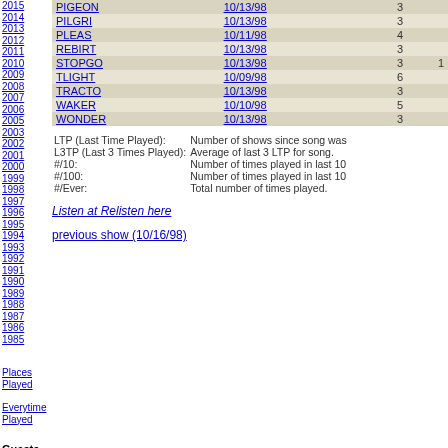2015 2014 2013 2012 2011 2010 2009 2008 2007 2006 2005 2003 2002 2001 2000 1999 1998 1997 1996 1995 1994 1993 1992 1991 1990 1989 1988 1987 1986 1985
| Song | LTP | # |  |
| --- | --- | --- | --- |
| PIGEON | 10/13/98 | 3 |  |
| PILGRI | 10/13/98 | 3 |  |
| PLEAS | 10/11/98 | 4 |  |
| REBIRT | 10/13/98 | 3 |  |
| STOPGO | 10/13/98 | 3 | 1 |
| TLIGHT | 10/09/98 | 6 |  |
| TRACTO | 10/13/98 | 3 |  |
| WAKER | 10/10/98 | 5 |  |
| WONDER | 10/13/98 | 3 |  |
LTP (Last Time Played): Number of shows since song was
L3TP (Last 3 Times Played): Average of last 3 LTP for song.
#/10: Number of times played in last 10
#/100: Number of times played in last 10
#/Ever: Total number of times played.
Listen at Relisten here
previous show (10/16/98)
Places Played
Everytime Played
Guests
By Artist
By Show
Stats
Brief Overview
Stats Main Menu